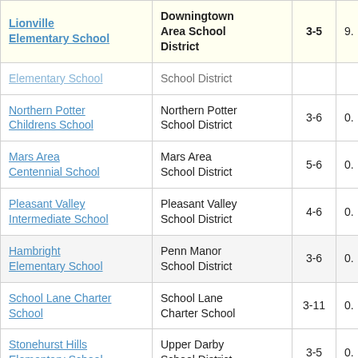| School | District | Grades |  |
| --- | --- | --- | --- |
| Lionville Elementary School | Downingtown Area School District | 3-5 | 9. |
| Elementary School | School District |  |  |
| Northern Potter Childrens School | Northern Potter School District | 3-6 | 0. |
| Mars Area Centennial School | Mars Area School District | 5-6 | 0. |
| Pleasant Valley Intermediate School | Pleasant Valley School District | 4-6 | 0. |
| Hambright Elementary School | Penn Manor School District | 3-6 | 0. |
| School Lane Charter School | School Lane Charter School | 3-11 | 0. |
| Stonehurst Hills Elementary School | Upper Darby School District | 3-5 | 0. |
| Fink Elementary School | Middletown Area School District | 3-5 | 0. |